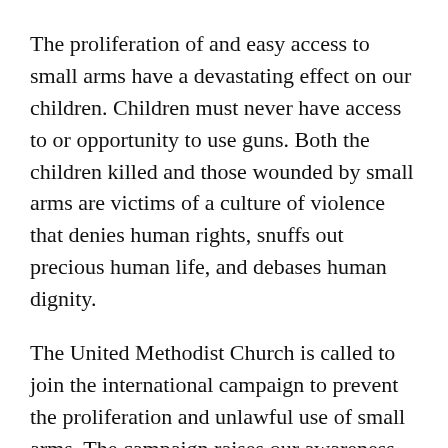The proliferation of and easy access to small arms have a devastating effect on our children. Children must never have access to or opportunity to use guns. Both the children killed and those wounded by small arms are victims of a culture of violence that denies human rights, snuffs out precious human life, and debases human dignity.
The United Methodist Church is called to join the international campaign to prevent the proliferation and unlawful use of small arms. The campaign raises our awareness of the need for emergency measures to save the lives of children, in our schools, in inner cities, and in many parts of the world, particularly those countries and communities that are highly militarized and governed by national security laws.
(partial) additional text continues below...